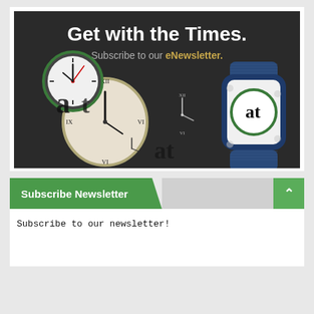[Figure (illustration): Advertisement banner with dark background showing multiple analog clock faces and a blue smartwatch displaying an 'at' logo. Text reads 'Get with the Times. Subscribe to our eNewsletter.']
Subscribe Newsletter
Subscribe to our newsletter!